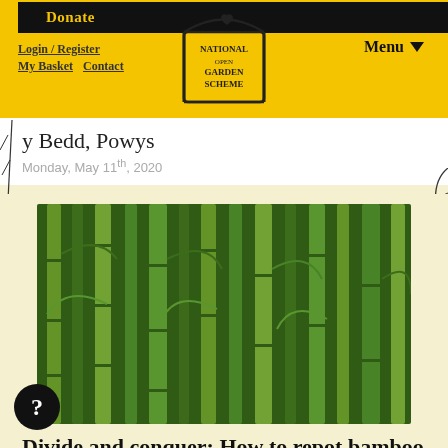Donate | Login / Register | My Basket | Contact | National Garden Scheme | Menu
y Bedd, Powys
Monday, May 11th, 2020
[Figure (photo): Close-up photograph of dense bamboo stalks and leaves, green and yellow tones]
Divide and conquer: How to repot bamboo
Thursday, April 23rd, 2020